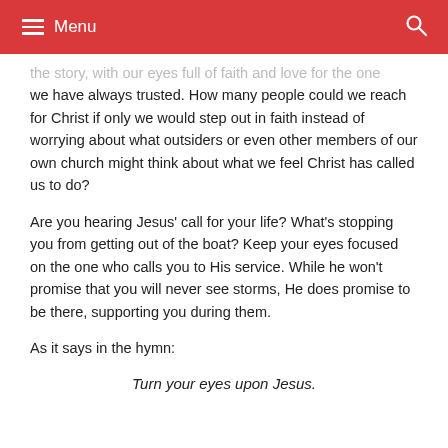Menu
the story, with our eyes full of faith and love for the one we have always trusted. How many people could we reach for Christ if only we would step out in faith instead of worrying about what outsiders or even other members of our own church might think about what we feel Christ has called us to do?
Are you hearing Jesus' call for your life? What's stopping you from getting out of the boat? Keep your eyes focused on the one who calls you to His service. While he won't promise that you will never see storms, He does promise to be there, supporting you during them.
As it says in the hymn:
Turn your eyes upon Jesus.